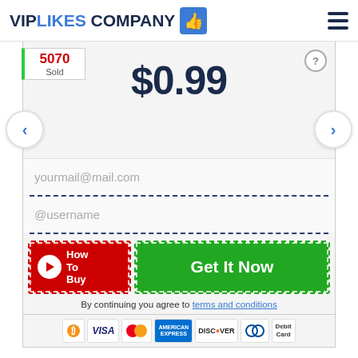VIPLIKES COMPANY
5070 Sold
$0.99
yourmail@mail.com
@username
How To Buy
Get It Now
By continuing you agree to terms and conditions
Bitcoin VISA Mastercard American Express DISCOVER Diners Club Debit Card